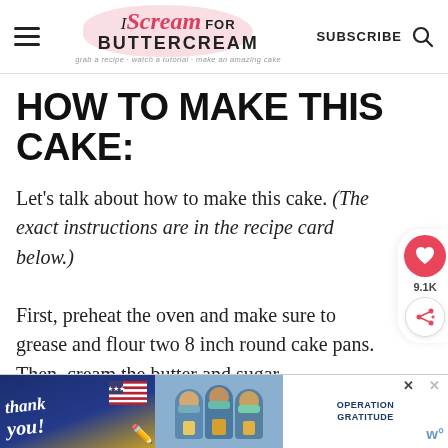I Scream for Buttercream — grab a recipe · watch a tutorial · make an amazing cake | SUBSCRIBE
HOW TO MAKE THIS CAKE:
Let's talk about how to make this cake. (The exact instructions are in the recipe card below.)
First, preheat the oven and make sure to grease and flour two 8 inch round cake pans. Then, cream the butter and sugar
[Figure (infographic): Advertisement banner: Operation Gratitude thank you ad with photo of people in masks holding packages]
[Figure (infographic): Floating social sidebar with heart/like button showing 9.1K and share button]